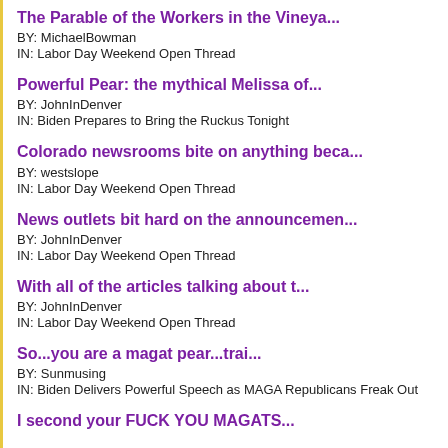The Parable of the Workers in the Vineya...
BY: MichaelBowman
IN: Labor Day Weekend Open Thread
Powerful Pear:  the mythical Melissa of...
BY: JohnInDenver
IN: Biden Prepares to Bring the Ruckus Tonight
Colorado newsrooms bite on anything beca...
BY: westslope
IN: Labor Day Weekend Open Thread
News outlets bit hard on the announcemen...
BY: JohnInDenver
IN: Labor Day Weekend Open Thread
With all of the articles talking about t...
BY: JohnInDenver
IN: Labor Day Weekend Open Thread
So...you are a magat pear...trai...
BY: Sunmusing
IN: Biden Delivers Powerful Speech as MAGA Republicans Freak Out
I second your FUCK YOU MAGATS...